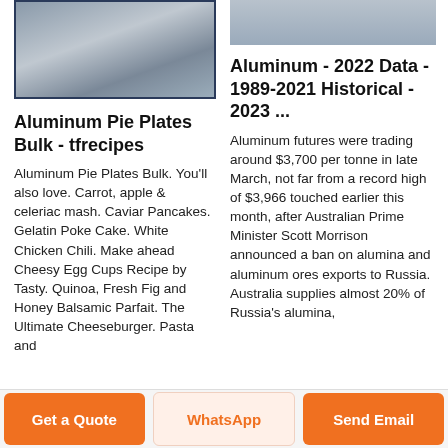[Figure (photo): Photo of stacked aluminum sheets/plates with blue border]
[Figure (photo): Partial photo of aluminum material at top right]
Aluminum Pie Plates Bulk - tfrecipes
Aluminum Pie Plates Bulk. You'll also love. Carrot, apple & celeriac mash. Caviar Pancakes. Gelatin Poke Cake. White Chicken Chili. Make ahead Cheesy Egg Cups Recipe by Tasty. Quinoa, Fresh Fig and Honey Balsamic Parfait. The Ultimate Cheeseburger. Pasta and
Aluminum - 2022 Data - 1989-2021 Historical - 2023 ...
Aluminum futures were trading around $3,700 per tonne in late March, not far from a record high of $3,966 touched earlier this month, after Australian Prime Minister Scott Morrison announced a ban on alumina and aluminum ores exports to Russia. Australia supplies almost 20% of Russia's alumina,
Get a Quote
WhatsApp
Send Email